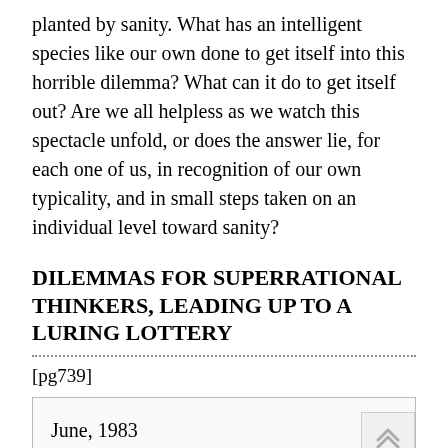planted by sanity. What has an intelligent species like our own done to get itself into this horrible dilemma? What can it do to get itself out? Are we all helpless as we watch this spectacle unfold, or does the answer lie, for each one of us, in recognition of our own typicality, and in small steps taken on an individual level toward sanity?
DILEMMAS FOR SUPERRATIONAL THINKERS, LEADING UP TO A LURING LOTTERY
[pg739]
June, 1983
And then one fine day, out of the blue, you get a let-